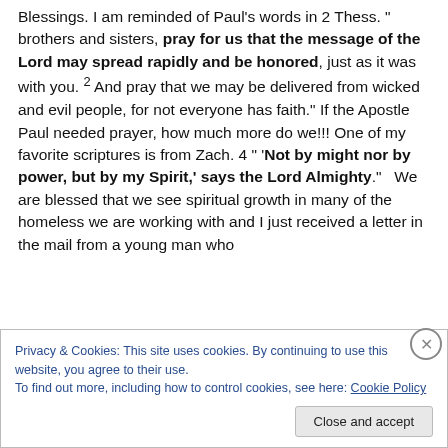Blessings. I am reminded of Paul's words in 2 Thess. " brothers and sisters, pray for us that the message of the Lord may spread rapidly and be honored, just as it was with you. 2 And pray that we may be delivered from wicked and evil people, for not everyone has faith." If the Apostle Paul needed prayer, how much more do we!!! One of my favorite scriptures is from Zach. 4 " 'Not by might nor by power, but by my Spirit,' says the Lord Almighty."   We are blessed that we see spiritual growth in many of the homeless we are working with and I just received a letter in the mail from a young man who
Privacy & Cookies: This site uses cookies. By continuing to use this website, you agree to their use.
To find out more, including how to control cookies, see here: Cookie Policy